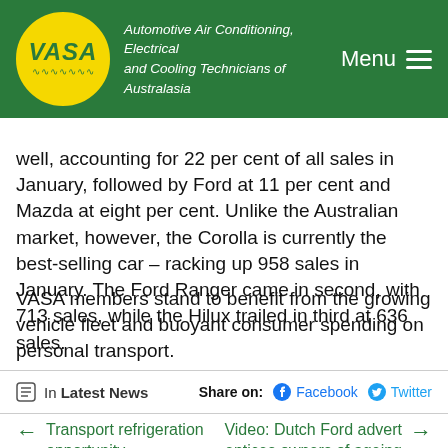VASA – Automotive Air Conditioning, Electrical and Cooling Technicians of Australasia | Menu
well, accounting for 22 per cent of all sales in January, followed by Ford at 11 per cent and Mazda at eight per cent. Unlike the Australian market, however, the Corolla is currently the best-selling car – racking up 958 sales in January. The Ford Ranger came in second, with 713 sales, while the Hilux trailed in third at 636 sales.
VASA members stand to benefit from the growing vehicle fleet and buoyant consumer spending on personal transport.
In Latest News   Share on:   Facebook   Twitter
← Transport refrigeration opportunity
Video: Dutch Ford advert entices owners of ageing cars into dealership →